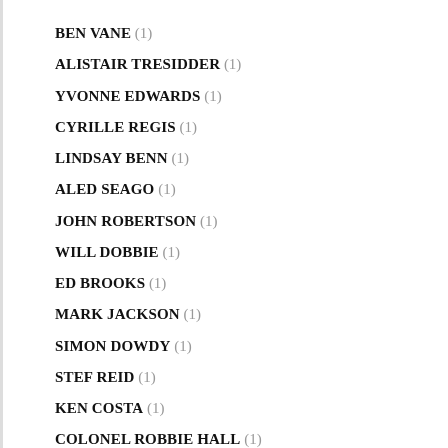BEN VANE (1)
ALISTAIR TRESIDDER (1)
YVONNE EDWARDS (1)
CYRILLE REGIS (1)
LINDSAY BENN (1)
ALED SEAGO (1)
JOHN ROBERTSON (1)
WILL DOBBIE (1)
ED BROOKS (1)
MARK JACKSON (1)
SIMON DOWDY (1)
STEF REID (1)
KEN COSTA (1)
COLONEL ROBBIE HALL (1)
SIMON WARD (1)